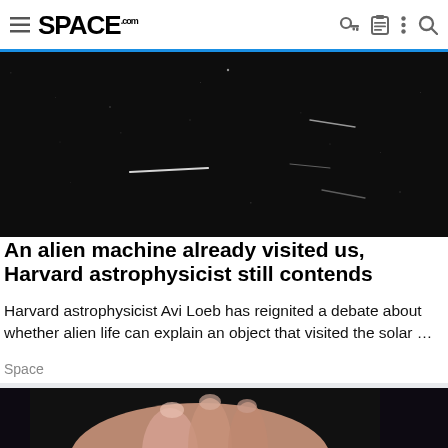SPACE.com navigation header
[Figure (photo): Dark astronomical image showing streaks of light (possibly satellite trails or asteroid tracks) against a black background]
An alien machine already visited us, Harvard astrophysicist still contends
Harvard astrophysicist Avi Loeb has reignited a debate about whether alien life can explain an object that visited the solar …
Space
[Figure (photo): Close-up photo of a person's hand holding something, against a dark background]